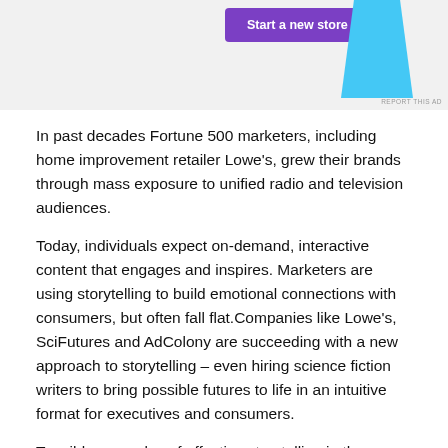[Figure (other): Advertisement banner with a purple 'Start a new store' button and a cyan/blue geometric shape on the right side. A small 'REPORT THIS AD' label appears at the bottom right.]
In past decades Fortune 500 marketers, including home improvement retailer Lowe's, grew their brands through mass exposure to unified radio and television audiences.
Today, individuals expect on-demand, interactive content that engages and inspires. Marketers are using storytelling to build emotional connections with consumers, but often fall flat.Companies like Lowe's, SciFutures and AdColony are succeeding with a new approach to storytelling – even hiring science fiction writers to bring possible futures to life in an intuitive format for executives and consumers.
Tangible examples of effective storytelling in the Exponential Age are the Holoroom, a home improvement